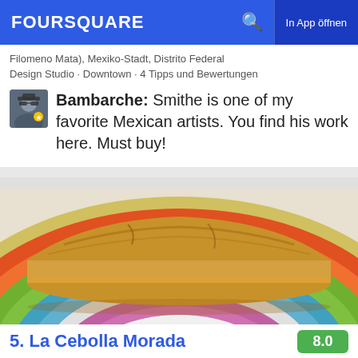FOURSQUARE  In App öffnen
Filomeno Mata), Mexiko-Stadt, Distrito Federal
Design Studio · Downtown · 4 Tipps und Bewertungen
Bambarche: Smithe is one of my favorite Mexican artists. You find his work here. Must buy!
[Figure (photo): A torta (Mexican sandwich) on a colorful striped plate]
5. La Cebolla Morada  8.0